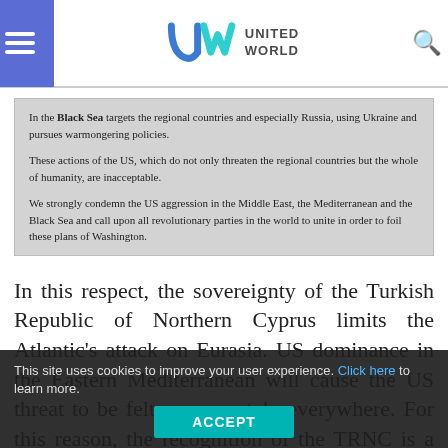UNITED WORLD
In the Black Sea targets the regional countries and especially Russia, using Ukraine and pursues warmongering policies.

These actions of the US, which do not only threaten the regional countries but the whole of humanity, are inacceptable.

We strongly condemn the US aggression in the Middle East, the Mediterranean and the Black Sea and call upon all revolutionary parties in the world to unite in order to foil these plans of Washington.
In this respect, the sovereignty of the Turkish Republic of Northern Cyprus limits the Atlantic's attack on Eurasia. US dominance in the Eastern Mediterranean will cause the US threat to be felt more acutely everywhere. For this reason, the recognition of the TRNC is a necessity of the struggle against the hegemony of the USA. I am making this call from this podium.